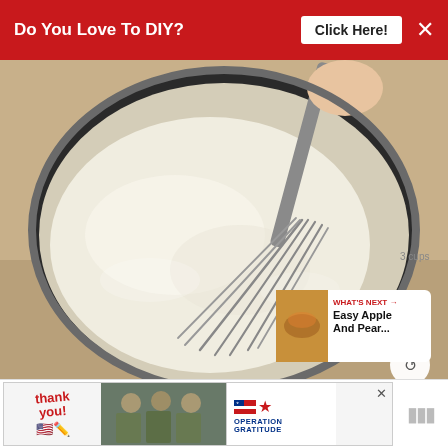Do You Love To DIY?  [Click Here!]  ×
[Figure (photo): A glass mixing bowl filled with pale creamy batter being whisked with a stainless steel whisk held by a hand. The bowl sits on a tan countertop.]
[Figure (infographic): WHAT'S NEXT arrow label with thumbnail image and text: Easy Apple And Pear...]
[Figure (photo): Bottom advertisement banner: Thank you! text with American flag pencil imagery, soldiers photo, Operation Gratitude logo]